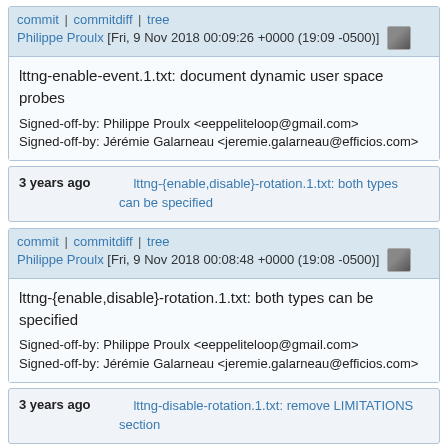commit | commitdiff | tree
Philippe Proulx [Fri, 9 Nov 2018 00:09:26 +0000 (19:09 -0500)]
lttng-enable-event.1.txt: document dynamic user space probes

Signed-off-by: Philippe Proulx <eeppeliteloop@gmail.com>
Signed-off-by: Jérémie Galarneau <jeremie.galarneau@efficios.com>
3 years ago    lttng-{enable,disable}-rotation.1.txt: both types can be specified
commit | commitdiff | tree
Philippe Proulx [Fri, 9 Nov 2018 00:08:48 +0000 (19:08 -0500)]
lttng-{enable,disable}-rotation.1.txt: both types can be specified

Signed-off-by: Philippe Proulx <eeppeliteloop@gmail.com>
Signed-off-by: Jérémie Galarneau <jeremie.galarneau@efficios.com>
3 years ago    lttng-disable-rotation.1.txt: remove LIMITATIONS section